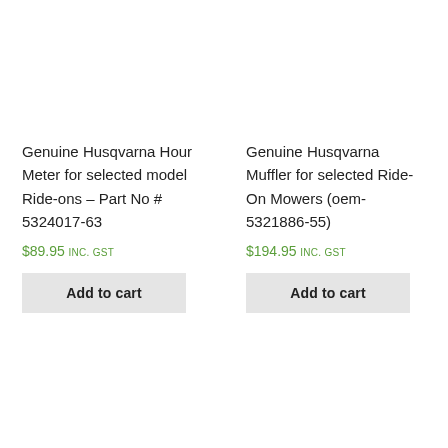Genuine Husqvarna Hour Meter for selected model Ride-ons – Part No # 5324017-63
$89.95 inc. GST
Add to cart
Genuine Husqvarna Muffler for selected Ride-On Mowers (oem-5321886-55)
$194.95 inc. GST
Add to cart